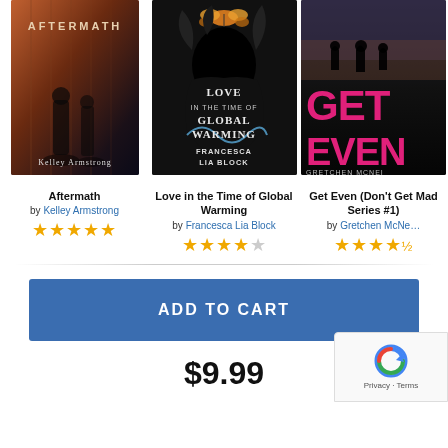[Figure (screenshot): Three book covers in a row: Aftermath by Kelley Armstrong, Love in the Time of Global Warming by Francesca Lia Block, Get Even (Don't Get Mad Series #1) by Gretchen McNeil]
Aftermath
by Kelley Armstrong
★★★★★ (5 stars)
Love in the Time of Global Warming
by Francesca Lia Block
★★★★☆ (4 stars)
Get Even (Don't Get Mad Series #1)
by Gretchen McNeil
★★★★★ (4.5 stars)
ADD TO CART
$9.99